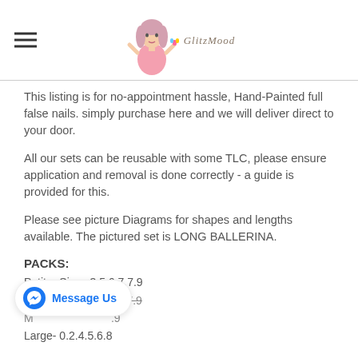GlitzMood logo header with hamburger menu
This listing is for no-appointment hassle, Hand-Painted full false nails. simply purchase here and we will deliver direct to your door.
All our sets can be reusable with some TLC, please ensure application and removal is done correctly - a guide is provided for this.
Please see picture Diagrams for shapes and lengths available. The pictured set is LONG BALLERINA.
PACKS:
Petite- Sizes 3.5.6.7.7.9
Small- Sizes 0.5.0.6.7.9
M... .9
Large- 0.2.4.5.6.8